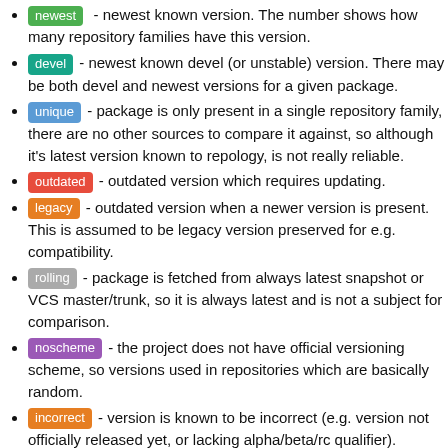newest - newest known version. The number shows how many repository families have this version.
devel - newest known devel (or unstable) version. There may be both devel and newest versions for a given package.
unique - package is only present in a single repository family, there are no other sources to compare it against, so although it's latest version known to repology, is not really reliable.
outdated - outdated version which requires updating.
legacy - outdated version when a newer version is present. This is assumed to be legacy version preserved for e.g. compatibility.
rolling - package is fetched from always latest snapshot or VCS master/trunk, so it is always latest and is not a subject for comparison.
noscheme - the project does not have official versioning scheme, so versions used in repositories which are basically random.
incorrect - version is known to be incorrect (e.g. version not officially released yet, or lacking alpha/beta/rc qualifier).
untrusted - this source is known to likely supply incorrect versions, so is ignored proactively.
ignored - version is ignored and excluded from comparison